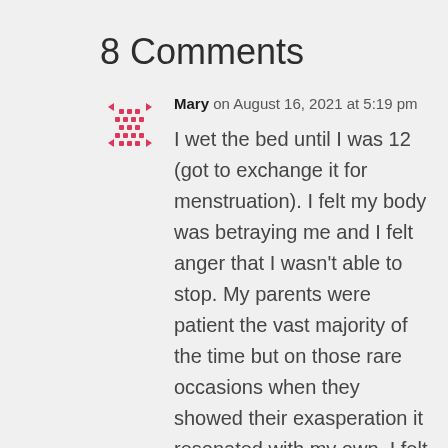8 Comments
Mary on August 16, 2021 at 5:19 pm
I wet the bed until I was 12 (got to exchange it for menstruation). I felt my body was betraying me and I felt anger that I wasn't able to stop. My parents were patient the vast majority of the time but on those rare occasions when they showed their exasperation it resonated with my own. I felt great shame. The hardest part though was navigating those sleepovers and the trip with my class up to Camp Stuart that everyone did in the sixth grade. The exact same fear and hesitancy comes